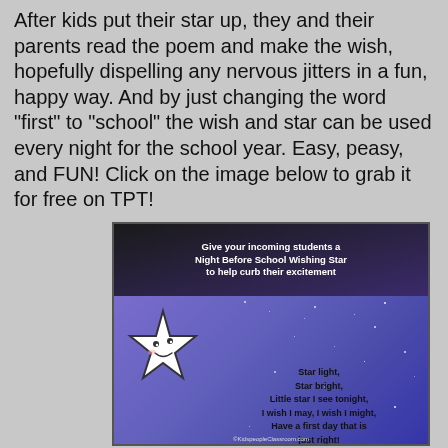After kids put their star up, they and their parents read the poem and make the wish, hopefully dispelling any nervous jitters in a fun, happy way. And by just changing the word "first" to "school" the wish and star can be used every night for the school year. Easy, peasy, and FUN! Click on the image below to grab it for free on TPT!
[Figure (illustration): Educational product image with dark banner at top reading 'Give your incoming students a Night Before School Wishing Star to help curb their excitement', and purple starry background below showing a cartoon smiling star and the poem: Star light, Star bright, Little star I see tonight, I wish I may, I wish I might, Have a first day that is just right! With watermark KidspeopleClassroom.com]